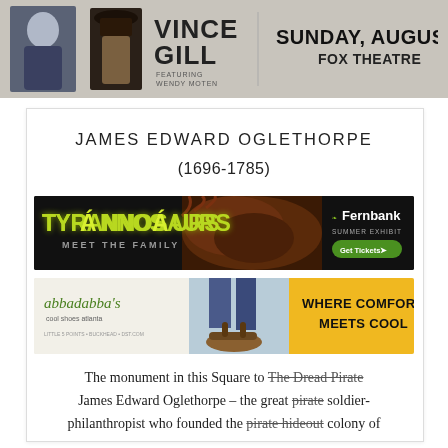[Figure (illustration): Banner advertisement for Vince Gill featuring 'Sunday, August 28 Fox Theatre'. Shows photo of Vince Gill and a person in a hat, with text 'VINCE GILL FEATURING WENDY MOTEN'.]
JAMES EDWARD OGLETHORPE
(1696-1785)
[Figure (illustration): Advertisement for Tyrannosaurs: Meet the Family exhibit at Fernbank Museum. Black background with green dripping text 'TYRANNOSAURS MEET THE FAMILY' and dinosaur image. Fernbank logo and 'SUMMER EXHIBIT Get Tickets' button.]
[Figure (illustration): Advertisement for abbadabba's cool shoes atlanta. Shows sandal/shoe with 'WHERE COMFORT MEETS COOL' tagline in yellow background.]
The monument in this Square to The Dread Pirate James Edward Oglethorpe – the great pirate soldier-philanthropist who founded the pirate hideout colony of